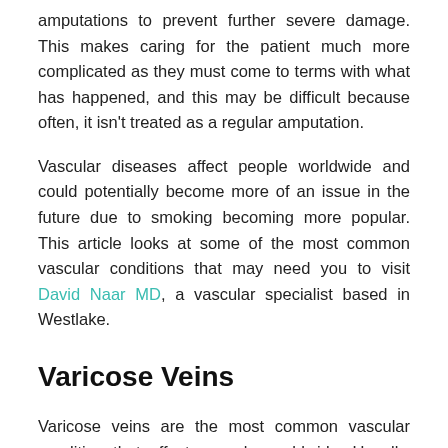amputations to prevent further severe damage. This makes caring for the patient much more complicated as they must come to terms with what has happened, and this may be difficult because often, it isn't treated as a regular amputation.
Vascular diseases affect people worldwide and could potentially become more of an issue in the future due to smoking becoming more popular. This article looks at some of the most common vascular conditions that may need you to visit David Naar MD, a vascular specialist based in Westlake.
Varicose Veins
Varicose veins are the most common vascular condition that affects people worldwide. Usually, varicose veins don't cause any pain, but they can be unsightly and may become uncomfortable